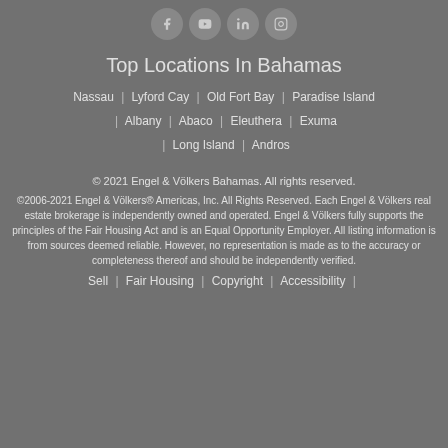[Figure (other): Four social media icon circles: Facebook, YouTube, LinkedIn, Instagram]
Top Locations In Bahamas
Nassau | Lyford Cay | Old Fort Bay | Paradise Island | Albany | Abaco | Eleuthera | Exuma | Long Island | Andros
© 2021 Engel & Völkers Bahamas. All rights reserved.
©2006-2021 Engel & Völkers® Americas, Inc. All Rights Reserved. Each Engel & Völkers real estate brokerage is independently owned and operated. Engel & Völkers fully supports the principles of the Fair Housing Act and is an Equal Opportunity Employer. All listing information is from sources deemed reliable. However, no representation is made as to the accuracy or completeness thereof and should be independently verified.
Sell | Fair Housing | Copyright | Accessibility |